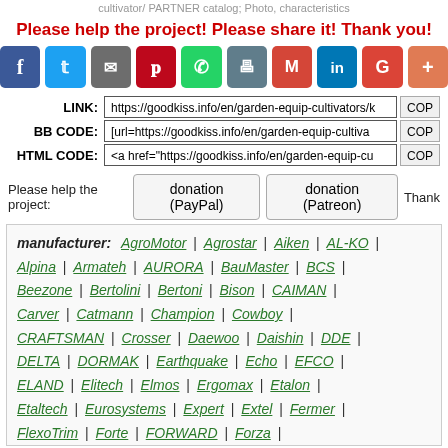cultivator/ PARTNER catalog; Photo, characteristics
Please help the project! Please share it! Thank you!
[Figure (infographic): Social share icons: Facebook, Twitter, Email, Pinterest, WhatsApp, Print, Gmail, LinkedIn, Google, More]
LINK: https://goodkiss.info/en/garden-equip-cultivators/k [COP...]
BB CODE: [url=https://goodkiss.info/en/garden-equip-cultiva... [COP...]
HTML CODE: <a href="https://goodkiss.info/en/garden-equip-cu... [COP...]
Please help the project: donation (PayPal) | donation (Patreon) | Thank...
manufacturer: AgroMotor | Agrostar | Aiken | AL-KO | Alpina | Armateh | AURORA | BauMaster | BCS | Beezone | Bertolini | Bertoni | Bison | CAIMAN | Carver | Catmann | Champion | Cowboy | CRAFTSMAN | Crosser | Daewoo | Daishin | DDE | DELTA | DORMAK | Earthquake | Echo | EFCO | ELAND | Elitech | Elmos | Ergomax | Etalon | Etaltech | Eurosystems | Expert | Extel | Fermer | FlexoTrim | Forte | FORWARD | Forza |